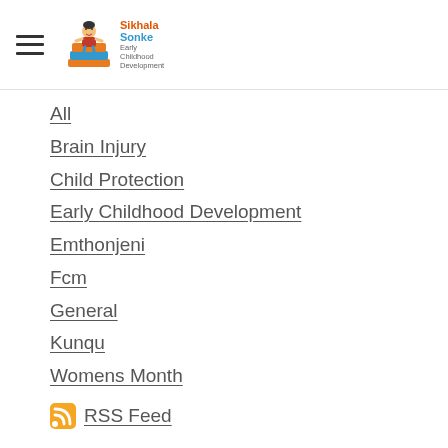Sikhala Sonke Early Childhood Development
All
Brain Injury
Child Protection
Early Childhood Development
Emthonjeni
Fcm
General
Kunqu
Womens Month
RSS Feed